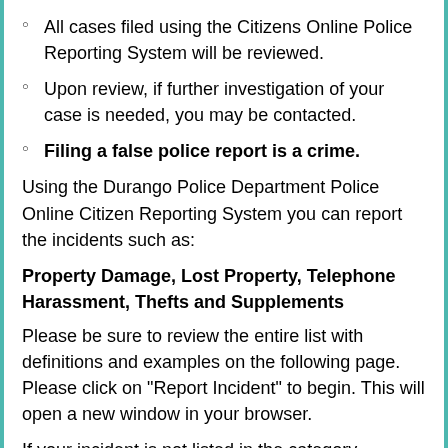All cases filed using the Citizens Online Police Reporting System will be reviewed.
Upon review, if further investigation of your case is needed, you may be contacted.
Filing a false police report is a crime.
Using the Durango Police Department Police Online Citizen Reporting System you can report the incidents such as:
Property Damage, Lost Property, Telephone Harassment, Thefts and Supplements
Please be sure to review the entire list with definitions and examples on the following page. Please click on "Report Incident" to begin. This will open a new window in your browser.
If your incident is not listed in the category selection